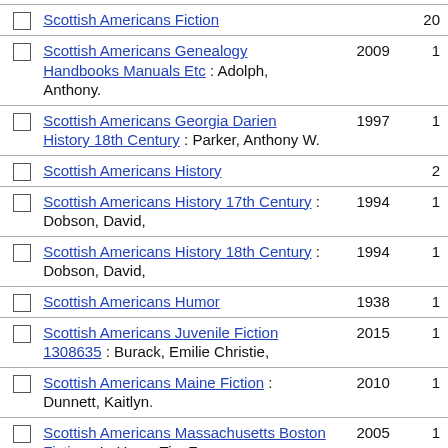|  | Entry | Year | Count |
| --- | --- | --- | --- |
| ☐ | Scottish Americans Fiction |  | 20 |
| ☐ | Scottish Americans Genealogy Handbooks Manuals Etc : Adolph, Anthony. | 2009 | 1 |
| ☐ | Scottish Americans Georgia Darien History 18th Century : Parker, Anthony W. | 1997 | 1 |
| ☐ | Scottish Americans History |  | 2 |
| ☐ | Scottish Americans History 17th Century : Dobson, David, | 1994 | 1 |
| ☐ | Scottish Americans History 18th Century : Dobson, David, | 1994 | 1 |
| ☐ | Scottish Americans Humor | 1938 | 1 |
| ☐ | Scottish Americans Juvenile Fiction 1308635 : Burack, Emilie Christie, | 2015 | 1 |
| ☐ | Scottish Americans Maine Fiction : Dunnett, Kaitlyn. | 2010 | 1 |
| ☐ | Scottish Americans Massachusetts Boston Fiction : LaHave, Tim F. | 2005 | 1 |